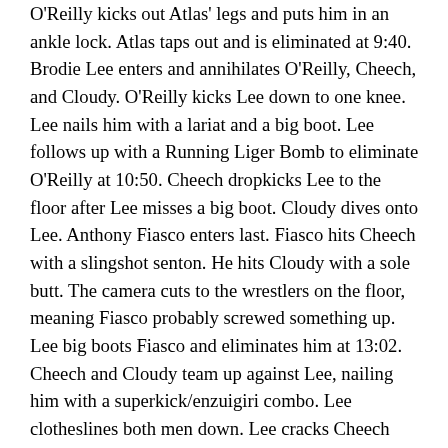O'Reilly kicks out Atlas' legs and puts him in an ankle lock. Atlas taps out and is eliminated at 9:40. Brodie Lee enters and annihilates O'Reilly, Cheech, and Cloudy. O'Reilly kicks Lee down to one knee. Lee nails him with a lariat and a big boot. Lee follows up with a Running Liger Bomb to eliminate O'Reilly at 10:50. Cheech dropkicks Lee to the floor after Lee misses a big boot. Cloudy dives onto Lee. Anthony Fiasco enters last. Fiasco hits Cheech with a slingshot senton. He hits Cloudy with a sole butt. The camera cuts to the wrestlers on the floor, meaning Fiasco probably screwed something up. Lee big boots Fiasco and eliminates him at 13:02. Cheech and Cloudy team up against Lee, nailing him with a superkick/enzuigiri combo. Lee clotheslines both men down. Lee cracks Cheech with a big boot for the elimination at 13:42. Lee catches Cloudy with the Truck Stop for the pin at 13:59. There was very little excitement to be had in this match. Lee looking dominant was excellent, and O'Reilly and Up In Smoke carried their end of the